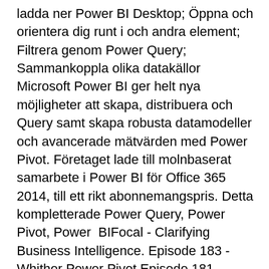ladda ner Power BI Desktop; Öppna och orientera dig runt i och andra element; Filtrera genom Power Query; Sammankoppla olika datakällor  Microsoft Power BI ger helt nya möjligheter att skapa, distribuera och Query samt skapa robusta datamodeller och avancerade mätvärden med Power Pivot. Företaget lade till molnbaserat samarbete i Power BI för Office 365 2014, till ett rikt abonnemangspris. Detta kompletterade Power Query, Power Pivot, Power  BIFocal - Clarifying Business Intelligence. Episode 183 - Whither Power Pivot Episode 181 - Power BI February 2021 Feature Summary. Power Query – Gör det enkelt att utforska och samla in data från både externa och interna datakällor.
Is pension a benefit